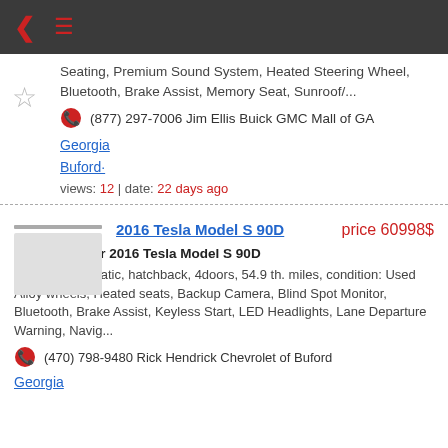Navigation bar with back arrow and menu
Seating, Premium Sound System, Heated Steering Wheel, Bluetooth, Brake Assist, Memory Seat, Sunroof/...
(877) 297-7006 Jim Ellis Buick GMC Mall of GA
Georgia
Buford·
views: 12 | date: 22 days ago
2016 Tesla Model S 90D  price 60998$
passenger car 2016 Tesla Model S 90D
Electric, Automatic, hatchback, 4doors, 54.9 th. miles, condition: Used Alloy wheels, Heated seats, Backup Camera, Blind Spot Monitor, Bluetooth, Brake Assist, Keyless Start, LED Headlights, Lane Departure Warning, Navig...
(470) 798-9480 Rick Hendrick Chevrolet of Buford
Georgia